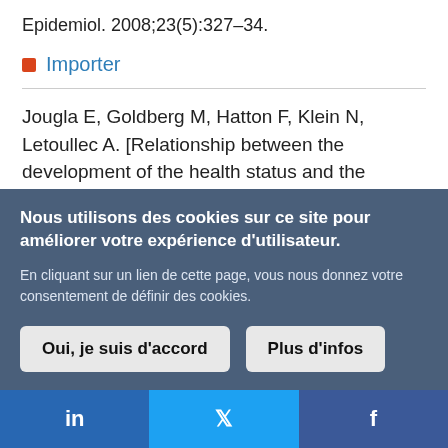Epidemiol. 2008;23(5):327–34.
Importer
Jougla E, Goldberg M, Hatton F, Klein N, Letoullec A. [Relationship between the development of the health status and the activity of the health care system in developed
Nous utilisons des cookies sur ce site pour améliorer votre expérience d'utilisateur.

En cliquant sur un lien de cette page, vous nous donnez votre consentement de définir des cookies.
Oui, je suis d'accord | Plus d'infos
in | [twitter bird] | f